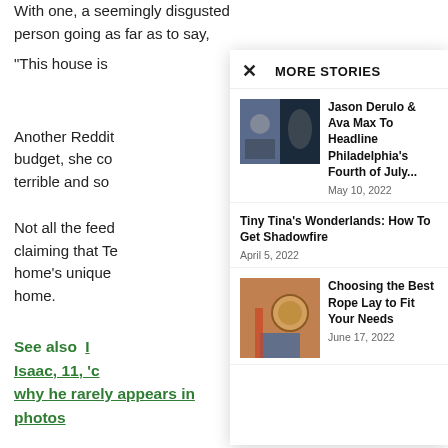With one, a seemingly disgusted person going as far as to say,
“This house is
Another Reddit budget, she co terrible and so
Not all the feed claiming that Te home’s unique home.
See also  Isaac, 11, ‘c why he rarely appears in photos
MORE STORIES
Jason Derulo & Ava Max To Headline Philadelphia’s Fourth of July...
May 10, 2022
Tiny Tina’s Wonderlands: How To Get Shadowfire
April 5, 2022
Choosing the Best Rope Lay to Fit Your Needs
June 17, 2022